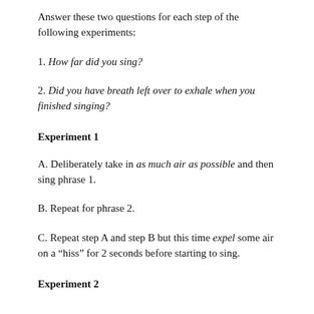Answer these two questions for each step of the following experiments:
1. How far did you sing?
2. Did you have breath left over to exhale when you finished singing?
Experiment 1
A. Deliberately take in as much air as possible and then sing phrase 1.
B. Repeat for phrase 2.
C. Repeat step A and step B but this time expel some air on a “hiss” for 2 seconds before starting to sing.
Experiment 2